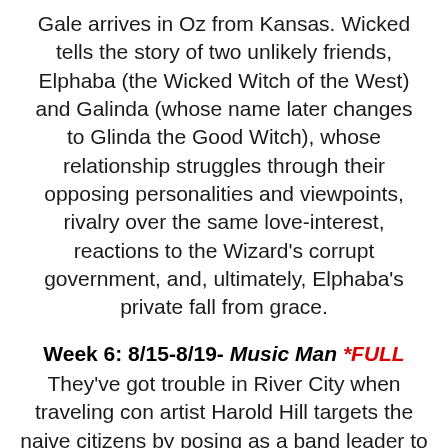Gale arrives in Oz from Kansas. Wicked tells the story of two unlikely friends, Elphaba (the Wicked Witch of the West) and Galinda (whose name later changes to Glinda the Good Witch), whose relationship struggles through their opposing personalities and viewpoints, rivalry over the same love-interest, reactions to the Wizard's corrupt government, and, ultimately, Elphaba's private fall from grace.
Week 6: 8/15-8/19- Music Man *FULL
They've got trouble in River City when traveling con artist Harold Hill targets the naive citizens by posing as a band leader to raise money for instruments before he